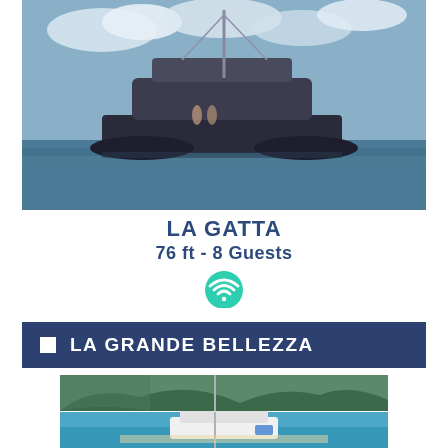[Figure (photo): Large catamaran yacht photographed from the stern, floating on calm ocean water with a partly cloudy sky background. The vessel is dark-hulled and modern.]
LA GATTA
76 ft - 8 Guests
[Figure (infographic): WiFi/connectivity icon in teal/green circle]
LA GRANDE BELLEZZA
[Figure (photo): Two-panel photo of a white catamaran sailing near tropical green mountains and anchored in turquoise water near a sandy beach.]